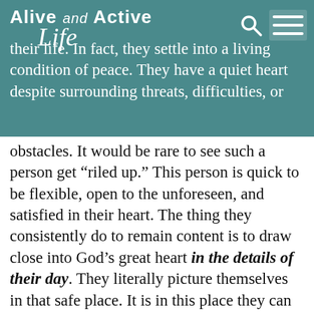Alive and Active Life
their life. In fact, they settle into a living condition of peace. They have a quiet heart despite surrounding threats, difficulties, or obstacles. It would be rare to see such a person get “riled up.” This person is quick to be flexible, open to the unforeseen, and satisfied in their heart. The thing they consistently do to remain content is to draw close into God’s great heart in the details of their day. They literally picture themselves in that safe place. It is in this place they can freely ask for wisdom, for creative ideas, for critical insight, and for direction. And – they hear God in their heart – of all things! These folks have learned about